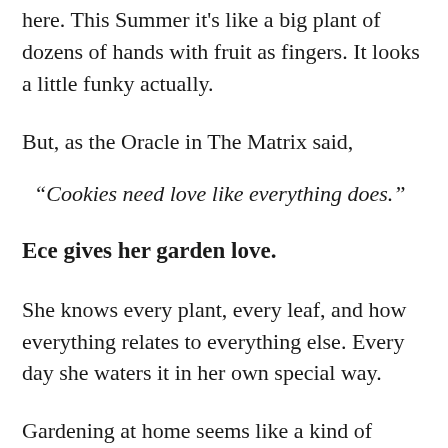here. This Summer it's like a big plant of dozens of hands with fruit as fingers. It looks a little funky actually.
But, as the Oracle in The Matrix said,
“Cookies need love like everything does.”
Ece gives her garden love.
She knows every plant, every leaf, and how everything relates to everything else. Every day she waters it in her own special way.
Gardening at home seems like a kind of meditation for her.